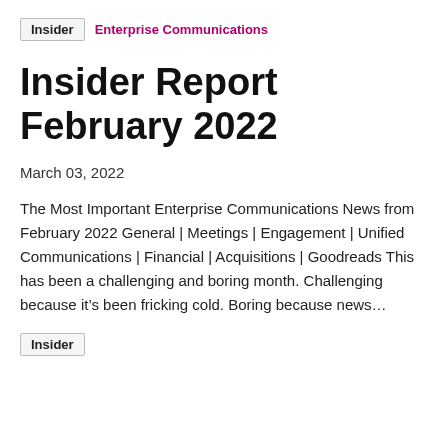Insider   Enterprise Communications
Insider Report February 2022
March 03, 2022
The Most Important Enterprise Communications News from February 2022 General | Meetings | Engagement | Unified Communications | Financial | Acquisitions | Goodreads This has been a challenging and boring month. Challenging because it’s been fricking cold. Boring because news…
Insider